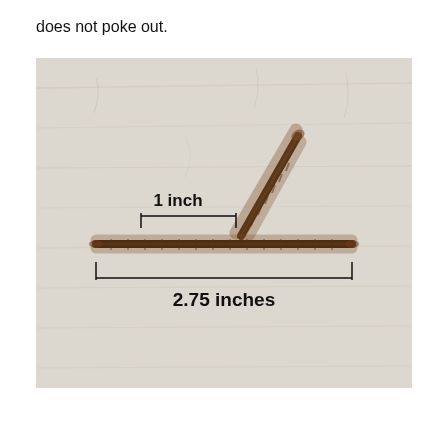does not poke out.
[Figure (photo): Photo of a brown pipe cleaner bent into an L-shape on a white wooden surface. Annotations show '1 inch' for the vertical segment and '2.75 inches' for the horizontal segment, with bracket measurement indicators.]